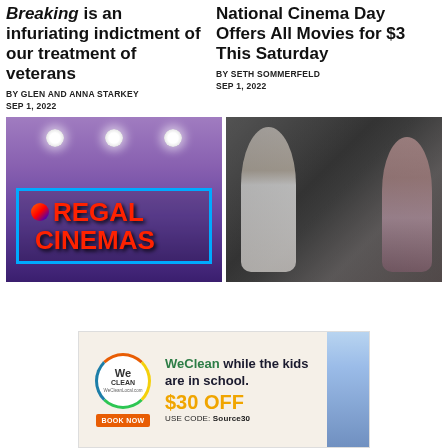Breaking is an infuriating indictment of our treatment of veterans
BY GLEN AND ANNA STARKEY
SEP 1, 2022
National Cinema Day Offers All Movies for $3 This Saturday
BY SETH SOMMERFELD
SEP 1, 2022
[Figure (photo): Regal Cinemas neon sign with blue border and red lettering, illuminated ceiling lights above]
[Figure (photo): Movie scene with a man in white chef uniform and a woman in a pink dress facing each other]
[Figure (infographic): WeClean advertisement banner: WeClean while the kids are in school. $30 OFF USE CODE: Source30. BOOK NOW button.]